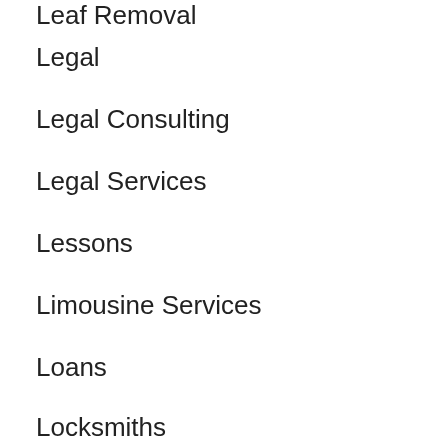Leaf Removal
Legal
Legal Consulting
Legal Services
Lessons
Limousine Services
Loans
Locksmiths
Lodging
Lunch
Maids
Mailbox Repair
Manufacturing
Marina
Marketing
Marketing Agencies